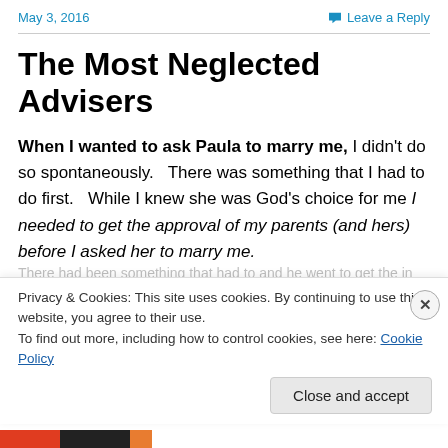May 3, 2016    Leave a Reply
The Most Neglected Advisers
When I wanted to ask Paula to marry me, I didn't do so spontaneously.   There was something that I had to do first.   While I knew she was God's choice for me I needed to get the approval of my parents (and hers) before I asked her to marry me.
Privacy & Cookies: This site uses cookies. By continuing to use this website, you agree to their use.
To find out more, including how to control cookies, see here: Cookie Policy
Close and accept